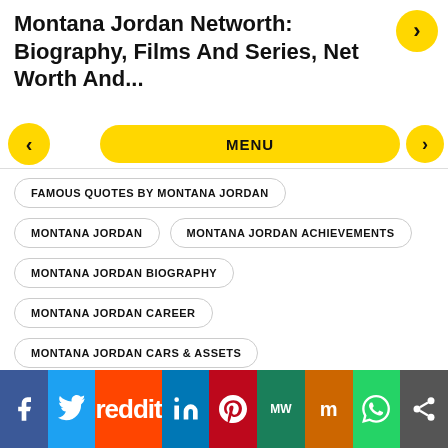Montana Jordan Networth: Biography, Films And Series, Net Worth And...
FAMOUS QUOTES BY MONTANA JORDAN
MONTANA JORDAN
MONTANA JORDAN ACHIEVEMENTS
MONTANA JORDAN BIOGRAPHY
MONTANA JORDAN CAREER
MONTANA JORDAN CARS & ASSETS
MONTANA JORDAN HOBBIES & INTERESTS